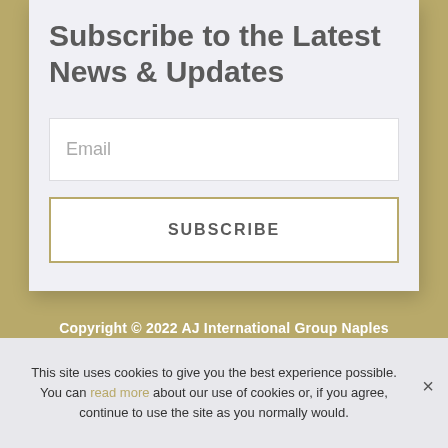Subscribe to the Latest News & Updates
Email
SUBSCRIBE
Copyright © 2022 AJ International Group Naples
This site uses cookies to give you the best experience possible. You can read more about our use of cookies or, if you agree, continue to use the site as you normally would.